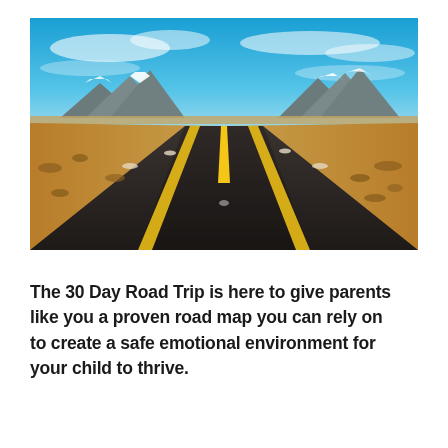[Figure (photo): A straight desert highway stretching to the horizon under a bright blue sky with light clouds. The road has yellow center lines and edge lines, flanked by arid brown landscape with distant snow-capped mountains on the horizon.]
The 30 Day Road Trip is here to give parents like you a proven road map you can rely on to create a safe emotional environment for your child to thrive.